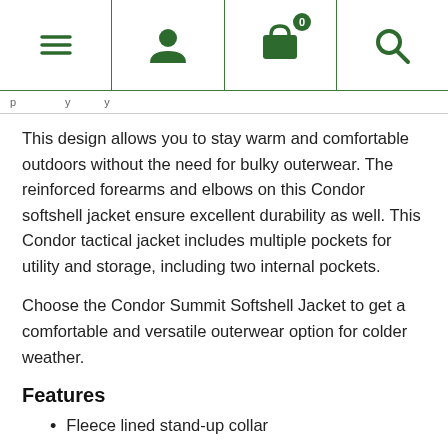Navigation bar with menu, user, cart (0), and search icons
This design allows you to stay warm and comfortable outdoors without the need for bulky outerwear. The reinforced forearms and elbows on this Condor softshell jacket ensure excellent durability as well. This Condor tactical jacket includes multiple pockets for utility and storage, including two internal pockets.
Choose the Condor Summit Softshell Jacket to get a comfortable and versatile outerwear option for colder weather.
Features
Fleece lined stand-up collar
Stow-away hoodie with cinch cord adjustment
Two upper arm pockets
Two upper arm patch panels